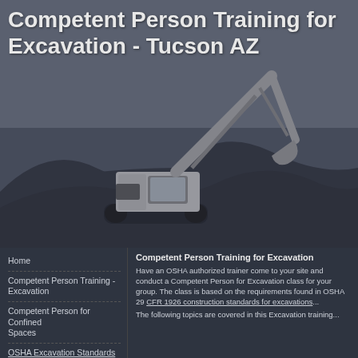[Figure (photo): Grayscale/dark-toned photo of an excavator on a mound of dirt/soil against a grey sky background, serving as a hero image banner.]
Competent Person Training for Excavation - Tucson AZ
Home
Competent Person Training - Excavation
Competent Person for Confined Spaces
OSHA Excavation Standards
Competent Person Training for Excavation
Have an OSHA authorized trainer come to your site and conduct a Competent Person for Excavation class for your group. The class is based on the requirements found in OSHA 29 CFR 1926 construction standards for excavations...
The following topics are covered in this Excavation training...